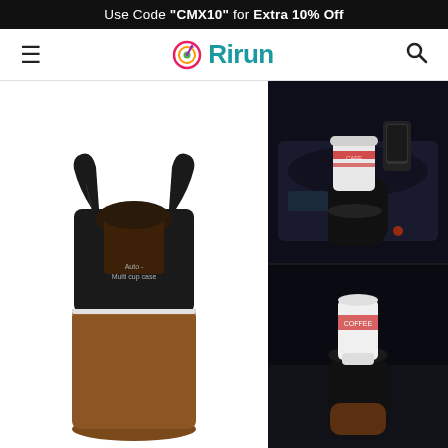Use Code "CMX10" for Extra 10% Off
[Figure (logo): Rirun brand logo with colorful target/dart icon and teal 'Rirun' text]
[Figure (photo): Black Auto Multi Cup Case / car cup holder organizer product photo on white background, showing black and brown leather cylinder with expandable arms]
[Figure (photo): Car cup holder in use in a luxury car center console, holding a coffee cup and phone]
[Figure (photo): Car cup holder shown installed in car cupholder with a white cup inside, dark background]